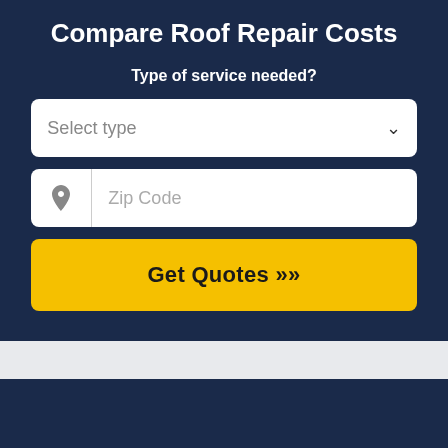Compare Roof Repair Costs
Type of service needed?
[Figure (screenshot): Dropdown form field with placeholder text 'Select type' and a chevron down icon]
[Figure (screenshot): Text input field with a location pin icon and placeholder text 'Zip Code']
Get Quotes »
Compare Roof Repair Costs